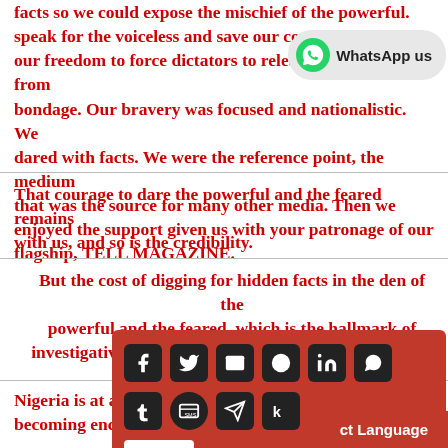facts so we could expose the mischief of the powerful. speak for the voiceless and save our country, using our freedom to force dictators to release democracy from bondage. Our bravery was focused and nationalistic. We dared with facts. We were the reference point, the medium that was the source for many other media. Then we enjoyed the support given us with your patronage of our flagship, TELL MAGAZINE.
That courage to dare the powerful and the feared remains with us, and so is the credibility.
But the cost of digging for hidden facts in the den of the powerful and the feared, which is the hallmark of investigative journalism, is, to say the least, very high.
Nigeria is at a crossroads, and her fragile democracy is becoming end...
That is why w... [support so that] we can contin... [ct] journalism th...